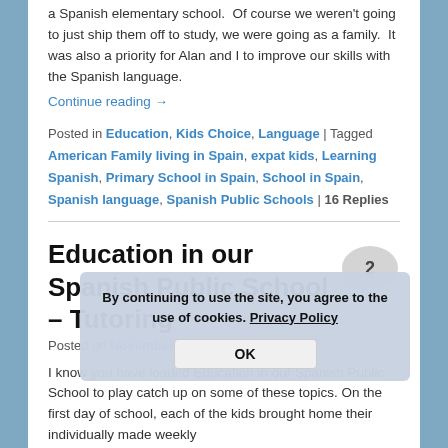a Spanish elementary school.  Of course we weren't going to just ship them off to study, we were going as a family.  It was also a priority for Alan and I to improve our skills with the Spanish language.
Continue reading →
Posted in Education, Kids Choice, Language | Tagged American Family living in Spain, expat kids, Learning Spanish, Primary School in Spain, School in Spain, Spanish language, Spanish Public Schools | 16 Replies
Education in our Spanish Public School – Tutoring
Posted on November 20, 2012 by Heidi
I know you have loaded Education in our Spanish Public School to play catch up on some of these topics. On the first day of school, each of the kids brought home their individually made weekly